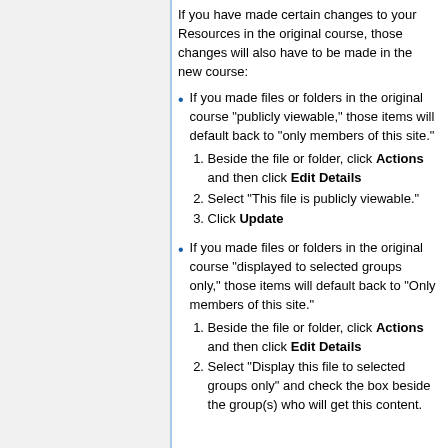If you have made certain changes to your Resources in the original course, those changes will also have to be made in the new course:
If you made files or folders in the original course "publicly viewable," those items will default back to "only members of this site."
1. Beside the file or folder, click Actions and then click Edit Details
2. Select "This file is publicly viewable."
3. Click Update
If you made files or folders in the original course "displayed to selected groups only," those items will default back to "Only members of this site."
1. Beside the file or folder, click Actions and then click Edit Details
2. Select "Display this file to selected groups only" and check the box beside the group(s) who will get this content.